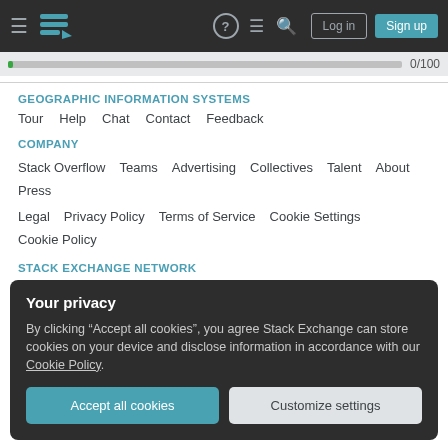Navigation bar with logo, help, chat, search, Log in, Sign up
0/100
GEOGRAPHIC INFORMATION SYSTEMS
Tour  Help  Chat  Contact  Feedback
COMPANY
Stack Overflow  Teams  Advertising  Collectives  Talent  About  Press
Legal  Privacy Policy  Terms of Service  Cookie Settings  Cookie Policy
STACK EXCHANGE NETWORK
Your privacy
By clicking "Accept all cookies", you agree Stack Exchange can store cookies on your device and disclose information in accordance with our Cookie Policy.
Accept all cookies
Customize settings